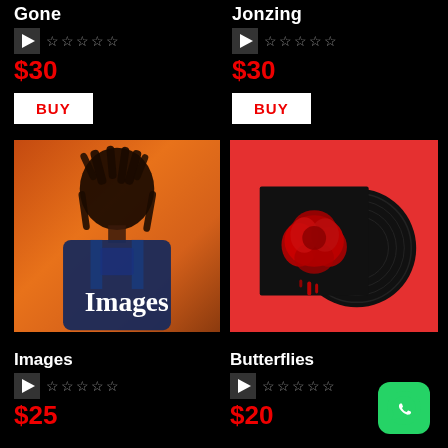Gone
☆☆☆☆☆
$30
BUY
Jonzing
☆☆☆☆☆
$30
BUY
[Figure (photo): Album cover for 'Images' - a young Black man with dreadlocks wearing blue denim overalls against an orange background, with the word 'Images' in white serif font]
[Figure (photo): Album cover for 'Butterflies' - a red background with a black vinyl record and a black square showing a red rose dripping, partially overlapping the record]
Images
☆☆☆☆☆
$25
Butterflies
☆☆☆☆☆
$20
[Figure (logo): WhatsApp green logo icon]